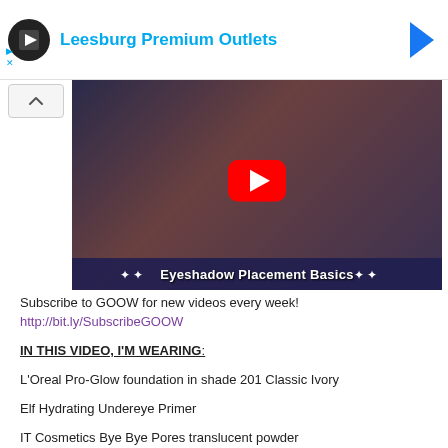[Figure (screenshot): Ad banner for Leesburg Premium Outlets with circular logo, blue outlet name text, and Facebook icon]
[Figure (screenshot): YouTube video thumbnail titled 'Eyeshadow Placement Basics' showing a woman with blue hair and a YouTube play button]
Subscribe to GOOW for new videos every week!
http://bit.ly/SubscribeGOOW
IN THIS VIDEO, I'M WEARING:
L'Oreal Pro-Glow foundation in shade 201 Classic Ivory
Elf Hydrating Undereye Primer
IT Cosmetics Bye Bye Pores translucent powder
Tarte Shape Tape concealer in fair